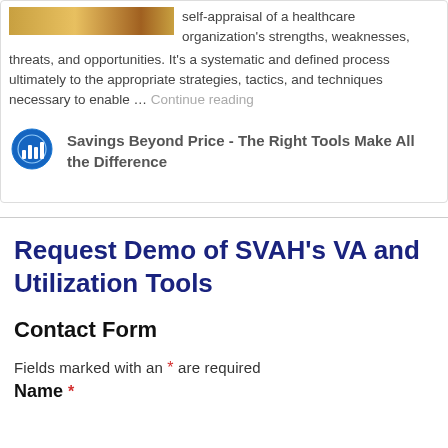self-appraisal of a healthcare organization's strengths, weaknesses, threats, and opportunities. It's a systematic and defined process ultimately to the appropriate strategies, tactics, and techniques necessary to enable … Continue reading
[Figure (logo): Circular icon with bar chart and globe imagery in blue tones]
Savings Beyond Price - The Right Tools Make All the Difference
Request Demo of SVAH's VA and Utilization Tools
Contact Form
Fields marked with an * are required
Name *